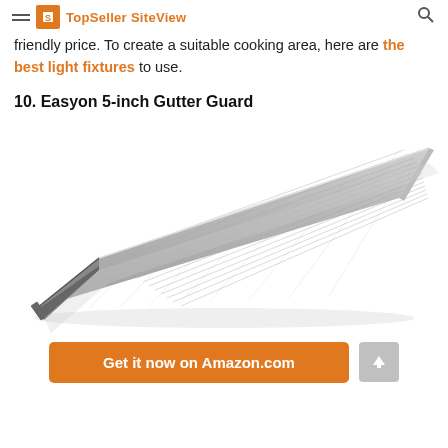TopSeller SiteView
friendly price. To create a suitable cooking area, here are the best light fixtures to use.
10. Easyon 5-inch Gutter Guard
[Figure (photo): Product photo of the Easyon 5-inch Gutter Guard — a long, silver/grey aluminum mesh gutter guard panel shown at a diagonal angle on a white background.]
Get it now on Amazon.com